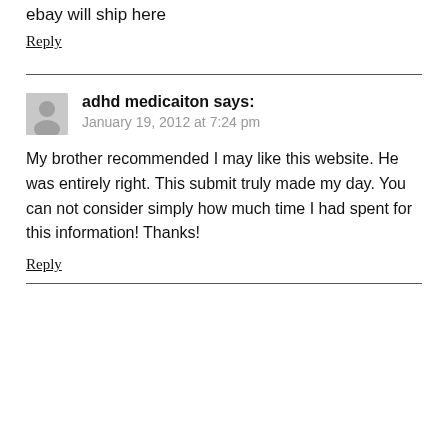ebay will ship here
Reply
adhd medicaiton says:
January 19, 2012 at 7:24 pm
My brother recommended I may like this website. He was entirely right. This submit truly made my day. You can not consider simply how much time I had spent for this information! Thanks!
Reply